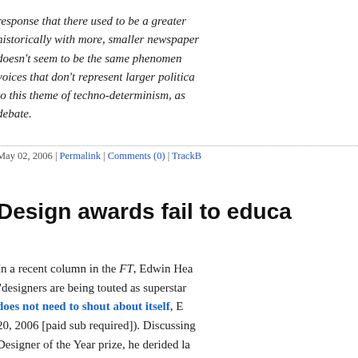response that there used to be a greater... historically with more, smaller newspaper... doesn't seem to be the same phenomenon... voices that don't represent larger political... to this theme of techno-determinism, as ... debate.
May 02, 2006 | Permalink | Comments (0) | TrackB...
Design awards fail to educa...
In a recent column in the FT, Edwin Hea... "designers are being touted as superstar... does not need to shout about itself, E... 20, 2006 [paid sub required]). Discussing... Designer of the Year prize, he derided la... 'bureaucrat' (the Design Council's Hilary... the current list of nominees that "It also, a... features a product designer, Tom Dixon"... "is showing retro copper lampshades and... chairs". He considers this list, overseen b... director Alice Rawsthorn, to be the "epita... barely a conventional product in sight" and... presentation of the work in which "objec...